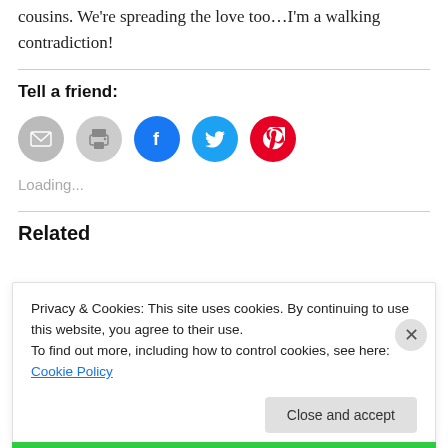cousins. We're spreading the love too…I'm a walking contradiction!
Tell a friend:
[Figure (infographic): Row of five circular share icons: email (grey), print (grey), Facebook (blue), Twitter (cyan), Pinterest (red)]
Loading...
Related
Privacy & Cookies: This site uses cookies. By continuing to use this website, you agree to their use.
To find out more, including how to control cookies, see here: Cookie Policy
Close and accept